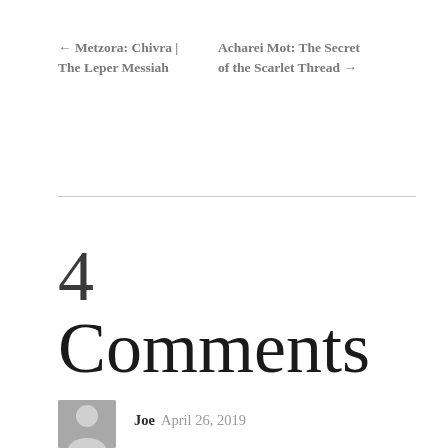← Metzora: Chivra | The Leper Messiah
Acharei Mot: The Secret of the Scarlet Thread →
4
Comments
Joe April 26, 2019